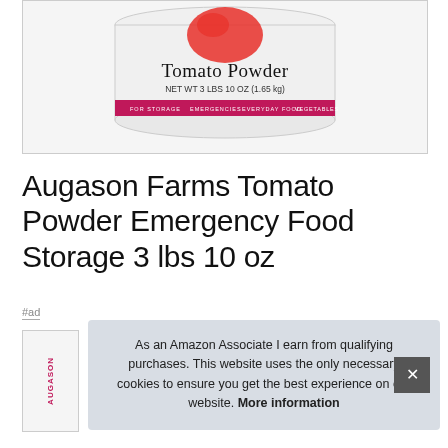[Figure (photo): Product can image showing Augason Farms Tomato Powder, NET WT 3 LBS 10 OZ (1.65 kg), with pink/magenta band at bottom showing keywords: FOR STORAGE, EMERGENCIES, EVERYDAY FOOD, VEGETABLES, FOR STORAGE, and a tomato graphic at top.]
Augason Farms Tomato Powder Emergency Food Storage 3 lbs 10 oz
#ad
[Figure (photo): Partial thumbnail of product can, partially obscured by cookie banner.]
As an Amazon Associate I earn from qualifying purchases. This website uses the only necessary cookies to ensure you get the best experience on our website. More information